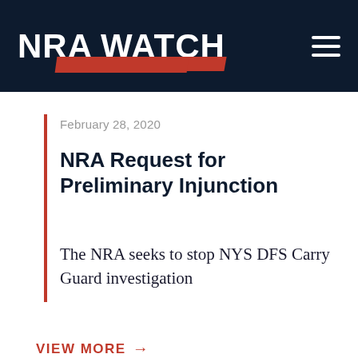NRA WATCH
February 28, 2020
NRA Request for Preliminary Injunction
The NRA seeks to stop NYS DFS Carry Guard investigation
VIEW MORE →